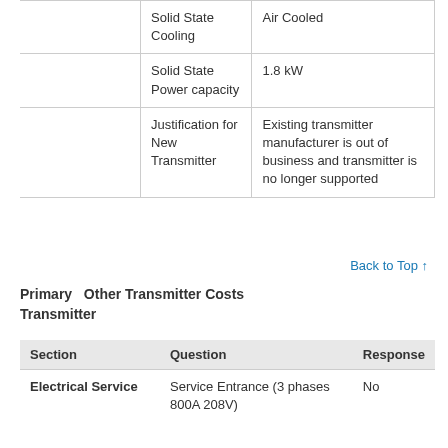|  | Question | Response |
| --- | --- | --- |
|  | Solid State Cooling | Air Cooled |
|  | Solid State Power capacity | 1.8 kW |
|  | Justification for New Transmitter | Existing transmitter manufacturer is out of business and transmitter is no longer supported |
Back to Top ↑
Primary Transmitter   Other Transmitter Costs
| Section | Question | Response |
| --- | --- | --- |
| Electrical Service | Service Entrance (3 phases 800A 208V) | No |